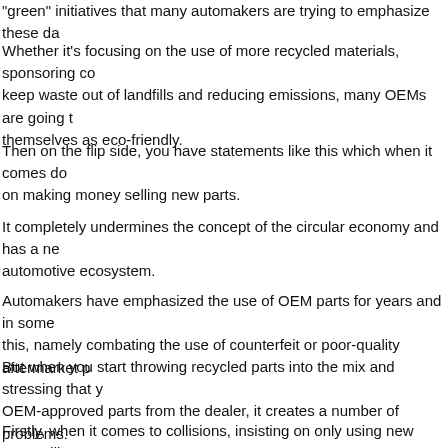“green” initiatives that many automakers are trying to emphasize these da
Whether it’s focusing on the use of more recycled materials, sponsoring co keep waste out of landfills and reducing emissions, many OEMs are going t themselves as eco-friendly.
Then on the flip side, you have statements like this which when it comes do on making money selling new parts.
It completely undermines the concept of the circular economy and has a ne automotive ecosystem.
Automakers have emphasized the use of OEM parts for years and in some this, namely combating the use of counterfeit or poor-quality aftermarket p
But when you start throwing recycled parts into the mix and stressing that y OEM-approved parts from the dealer, it creates a number of problems.
Firstly, when it comes to collisions, insisting on only using new parts will res written off as total losses, meaning there is less work for collision shops.